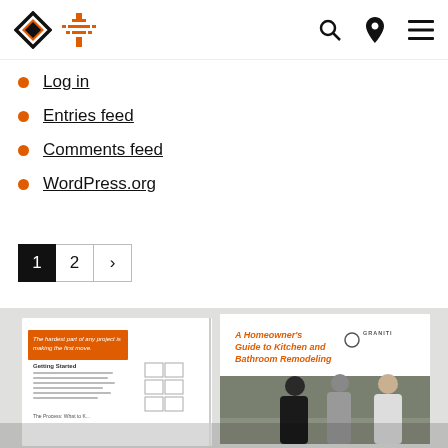[Figure (logo): Two logos side by side: a diamond/chevron geometric logo in black and orange, and an orange tree/plant icon]
Log in
Entries feed
Comments feed
WordPress.org
[Figure (infographic): Pagination controls showing page 1 (active/dark), page 2, and next arrow button]
[Figure (photo): A homeowner guide book open and displayed, with cover reading 'A Homeowner's Guide to Kitchen and Bathroom Remodeling' with orange text, and an interior page visible on the left]